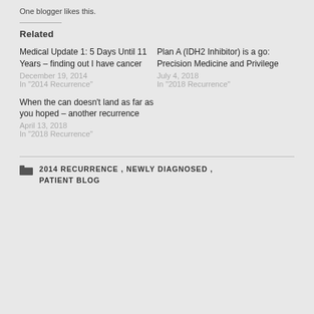One blogger likes this.
Related
Medical Update 1: 5 Days Until 11 Years – finding out I have cancer
December 19, 2014
In "2014 Recurrence"
Plan A (IDH2 Inhibitor) is a go: Precision Medicine and Privilege
July 4, 2018
In "2018 Recurrence"
When the can doesn't land as far as you hoped – another recurrence
April 13, 2018
In "2018 Recurrence"
2014 RECURRENCE , NEWLY DIAGNOSED , PATIENT BLOG